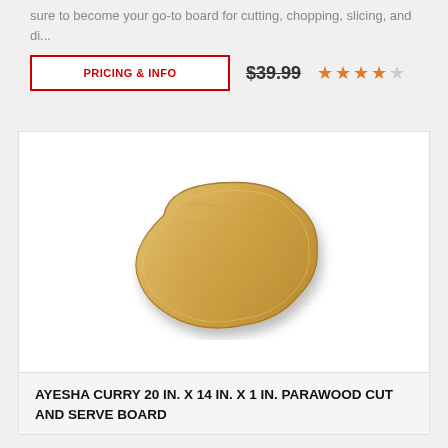sure to become your go-to board for cutting, chopping, slicing, and di...
PRICING & INFO | $39.99 | ★★★★☆
[Figure (photo): Wooden cutting board with an organic curved shape — Ayesha Curry parawood cut and serve board, viewed from above at an angle, light natural wood tone.]
AYESHA CURRY 20 IN. X 14 IN. X 1 IN. PARAWOOD CUT AND SERVE BOARD